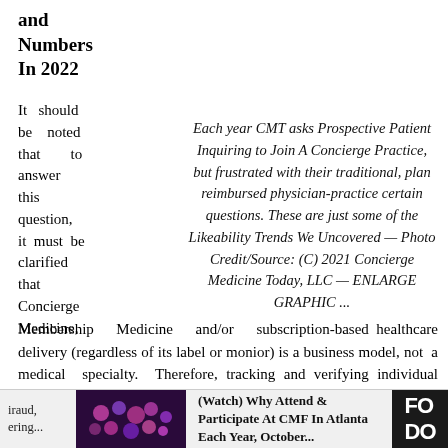and Numbers In 2022
It should be noted that to answer this question, it must be clarified that Concierge Medicine,
Each year CMT asks Prospective Patient Inquiring to Join A Concierge Practice, but frustrated with their traditional, plan reimbursed physician-practice certain questions. These are just some of the Likeability Trends We Uncovered — Photo Credit/Source: (C) 2021 Concierge Medicine Today, LLC — ENLARGE GRAPHIC ...
Membership Medicine and/or subscription-based healthcare delivery (regardless of its label or monior) is a business model, not a medical specialty. Therefore, tracking and verifying individual programs has proven
iraud, ering... (Watch) Why Attend & Participate At CMF In Atlanta Each Year, October...